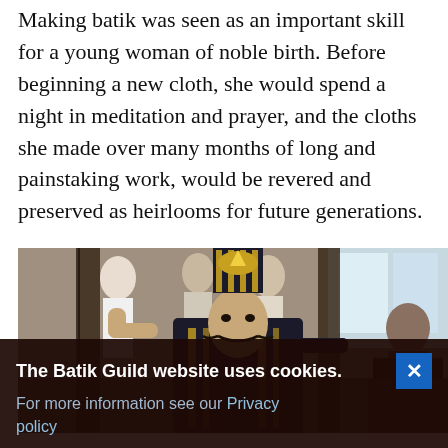Making batik was seen as an important skill for a young woman of noble birth. Before beginning a new cloth, she would spend a night in meditation and prayer, and the cloths she made over many months of long and painstaking work, would be revered and preserved as heirlooms for future generations.
[Figure (photo): A performer in elaborate traditional Javanese costume with a tall decorated headdress, dramatic makeup and mustache, raising one hand. In the background are other people and decorative pillars, suggesting a cultural performance venue.]
The Batik Guild website uses cookies. For more information see our Privacy policy